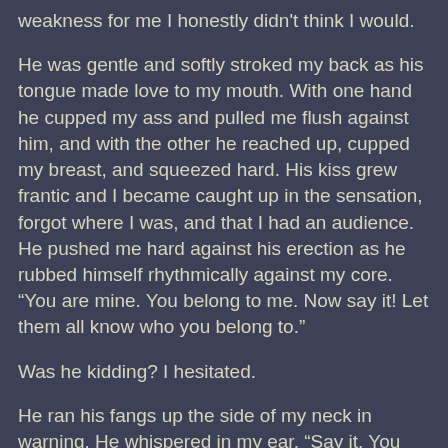weakness for me I honestly didn't think I would.
He was gentle and softly stroked my back as his tongue made love to my mouth. With one hand he cupped my ass and pulled me flush against him, and with the other he reached up, cupped my breast, and squeezed hard. His kiss grew frantic and I became caught up in the sensation, forgot where I was, and that I had an audience. He pushed me hard against his erection as he rubbed himself rhythmically against my core. “You are mine. You belong to me. Now say it! Let them all know who you belong to.”
Was he kidding? I hesitated.
He ran his fangs up the side of my neck in warning. He whispered in my ear, “Say it. You need to say it. Let them hear it come from your lips.” His hand drifted from my breast to the hem of my nightgown and pulled up one side so it rested in the crease where my leg met my hip.
Somehow the part of me that knew he was right surfaced, and the stubborn part of me took a momentary vacation. If I